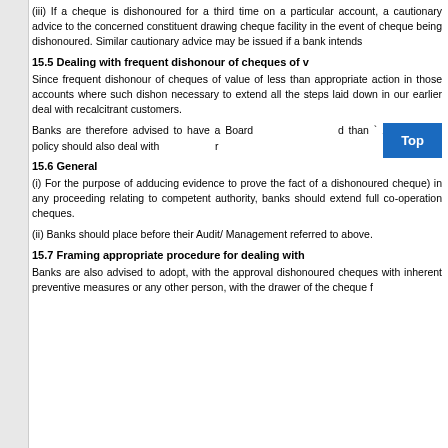(iii) If a cheque is dishonoured for a third time on a particular account, the bank should issue a cautionary advice to the concerned constituent drawing such cheques warning him that cheque facility in the event of cheque being dishonoured again may be withdrawn. Similar cautionary advice may be issued if a bank intends to withdraw cheque facility.
15.5 Dealing with frequent dishonour of cheques of v
Since frequent dishonour of cheques of value of less than ` 1 crore may also warrant appropriate action in those accounts where such dishonours are frequent, it may be necessary to extend all the steps laid down in our earlier circular to deal with such accounts deal with recalcitrant customers.
Banks are therefore advised to have a Board approved policy for cheques of value less than ` 1 crore. The policy should also deal with recalcitrant customers.
15.6 General
(i) For the purpose of adducing evidence to prove the fact of dishonour (i.e., to prove the fact of a dishonoured cheque) in any proceeding relating to a dishonoured cheque before a competent authority, banks should extend full co-operation in relation to such dishonoured cheques.
(ii) Banks should place before their Audit/ Management the information/cases referred to above.
15.7 Framing appropriate procedure for dealing with
Banks are also advised to adopt, with the approval of their Boards, a policy for dishonoured cheques with inherent preventive measures to prevent frauds by the drawer or any other person, with the drawer of the cheque f